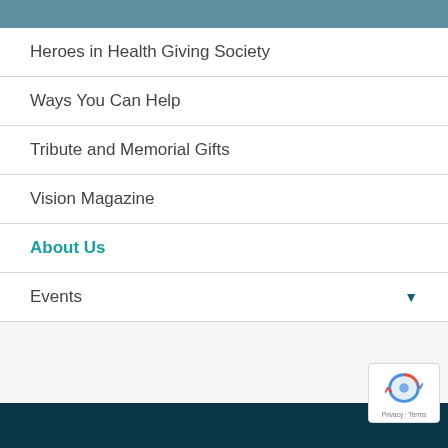Heroes in Health Giving Society
Ways You Can Help
Tribute and Memorial Gifts
Vision Magazine
About Us
Events